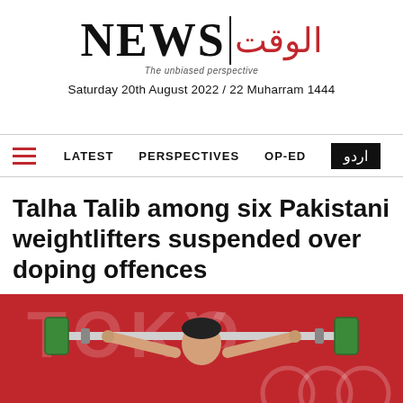[Figure (logo): NEWS logo with Arabic script 'Al-Waqt', tagline 'The unbiased perspective']
Saturday 20th August 2022 / 22 Muharram 1444
LATEST   PERSPECTIVES   OP-ED   اردو
Talha Talib among six Pakistani weightlifters suspended over doping offences
[Figure (photo): Weightlifter Talha Talib lifting a barbell at Tokyo Olympics, wearing red outfit, Tokyo Olympic branding visible in background]